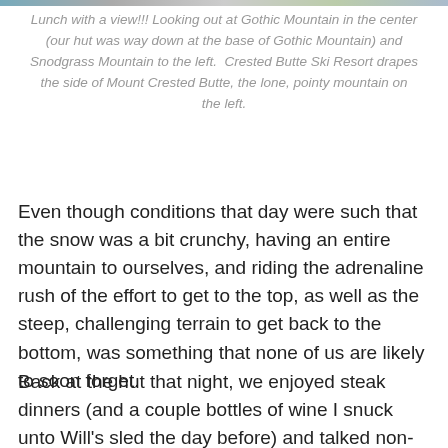[Figure (photo): Cropped top edge of a photo strip showing a mountain landscape scene]
Lunch with a view!!! Looking out at Gothic Mountain in the center (our hut was way down at the base of Gothic Mountain) and Snodgrass Mountain to the left.  Crested Butte Ski Resort drapes the side of Mount Crested Butte, the lone, pointy mountain on the left.
Even though conditions that day were such that the snow was a bit crunchy, having an entire mountain to ourselves, and riding the adrenaline rush of the effort to get to the top, as well as the steep, challenging terrain to get back to the bottom, was something that none of us are likely to soon forget.
Back at the hut that night, we enjoyed steak dinners (and a couple bottles of wine I snuck unto Will's sled the day before) and talked non-stop about how we